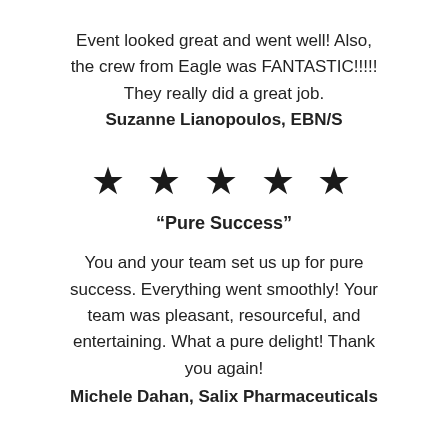Event looked great and went well! Also, the crew from Eagle was FANTASTIC!!!!! They really did a great job. Suzanne Lianopoulos, EBN/S
[Figure (other): Five black star rating symbols in a row]
“Pure Success”
You and your team set us up for pure success. Everything went smoothly! Your team was pleasant, resourceful, and entertaining. What a pure delight! Thank you again! Michele Dahan, Salix Pharmaceuticals